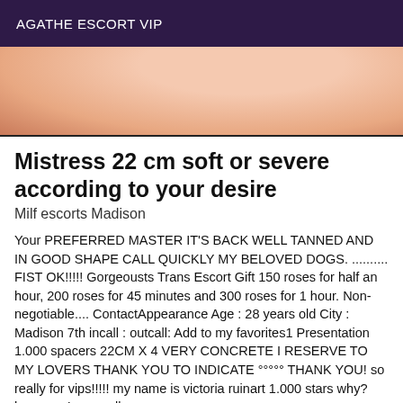AGATHE ESCORT VIP
[Figure (photo): Partial photo of a person, showing skin tones in pinkish-peach colors, cropped at top of page]
Mistress 22 cm soft or severe according to your desire
Milf escorts Madison
Your PREFERRED MASTER IT'S BACK WELL TANNED AND IN GOOD SHAPE CALL QUICKLY MY BELOVED DOGS. .......... FIST OK!!!!! Gorgeousts Trans Escort Gift 150 roses for half an hour, 200 roses for 45 minutes and 300 roses for 1 hour. Non-negotiable.... ContactAppearance Age : 28 years old City : Madison 7th incall : outcall: Add to my favorites1 Presentation 1.000 spacers 22CM X 4 VERY CONCRETE I RESERVE TO MY LOVERS THANK YOU TO INDICATE °°°°° THANK YOU! so really for vips!!!!! my name is victoria ruinart 1.000 stars why? because I am really a